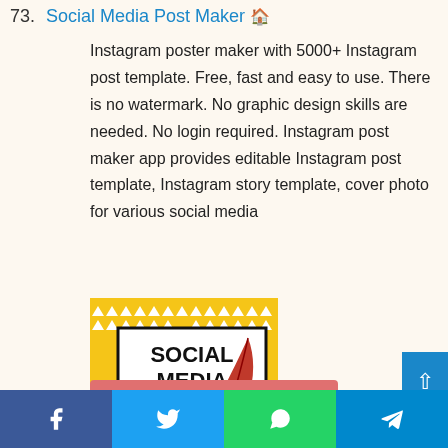73. Social Media Post Maker 🏠
Instagram poster maker with 5000+ Instagram post template. Free, fast and easy to use. There is no watermark. No graphic design skills are needed. No login required. Instagram post maker app provides editable Instagram post template, Instagram story template, cover photo for various social media
[Figure (logo): Social Media Post Maker app logo: yellow background with white triangle pattern, black bordered white box with text 'SOCIAL MEDIA POST MAKER' and a red feather quill pen illustration]
Social share bar with Facebook, Twitter, WhatsApp, Telegram icons